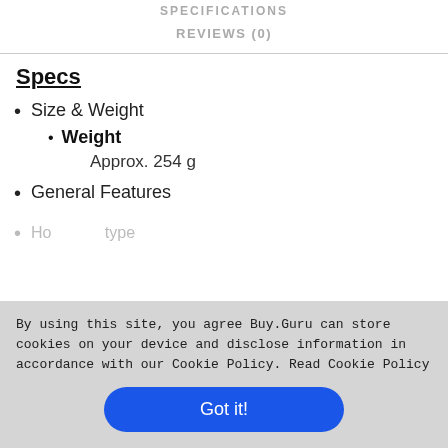SPECIFICATIONS
REVIEWS (0)
Specs
Size & Weight
• Weight
Approx. 254 g
General Features
By using this site, you agree Buy.Guru can store cookies on your device and disclose information in accordance with our Cookie Policy. Read Cookie Policy
Got it!